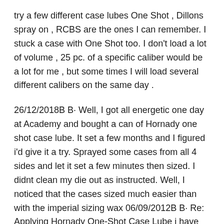try a few different case lubes One Shot , Dillons spray on , RCBS are the ones I can remember. I stuck a case with One Shot too. I don't load a lot of volume , 25 pc. of a specific caliber would be a lot for me , but some times I will load several different calibers on the same day .
26/12/2018B B· Well, I got all energetic one day at Academy and bought a can of Hornady one shot case lube. It set a few months and I figured i'd give it a try. Sprayed some cases from all 4 sides and let it set a few minutes then sized. I didnt clean my die out as instructed. Well, I noticed that the cases sized much easier than with the imperial sizing wax 06/09/2012B B· Re: Applying Hornady One-Shot Case Lube i have an old square plastic reloading block i dont use anymore. i line the outer two edges with cases (they are off set so I can do two rows at a time) and spray it , while turing the block around.